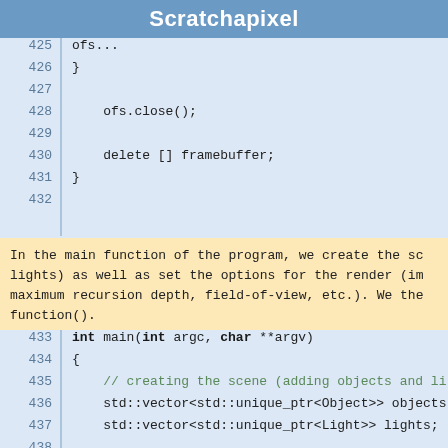Scratchapixel
425  ofs...
426  }
427
428      ofs.close();
429
430      delete [] framebuffer;
431  }
432
In the main function of the program, we create the scene (adding objects and lights) as well as set the options for the render (image size, maximum recursion depth, field-of-view, etc.). We then call the render() function().
433  int main(int argc, char **argv)
434  {
435      // creating the scene (adding objects and li...
436      std::vector<std::unique_ptr<Object>> objects...
437      std::vector<std::unique_ptr<Light>> lights;
438
439      Sphere *sph1 = new Sphere(Vec3f(-1, 0, -12),
440      sph1->materialType = DIFFUSE_AND_GLOSSY;
441      sph1->diffuseColor = Vec3f(0.6, 0.7, 0.8);
442      Sphere *sph2 = new Sphere(Vec3f(0.5, 0.5...